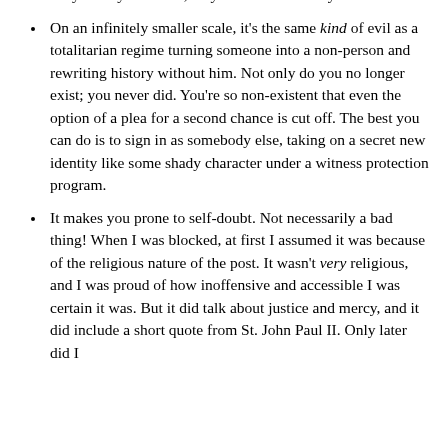the group members are concerned, but they also disappear for you. If you search, they won't be there anymore.
On an infinitely smaller scale, it's the same kind of evil as a totalitarian regime turning someone into a non-person and rewriting history without him. Not only do you no longer exist; you never did. You're so non-existent that even the option of a plea for a second chance is cut off. The best you can do is to sign in as somebody else, taking on a secret new identity like some shady character under a witness protection program.
It makes you prone to self-doubt. Not necessarily a bad thing! When I was blocked, at first I assumed it was because of the religious nature of the post. It wasn't very religious, and I was proud of how inoffensive and accessible I was certain it was. But it did talk about justice and mercy, and it did include a short quote from St. John Paul II. Only later did I